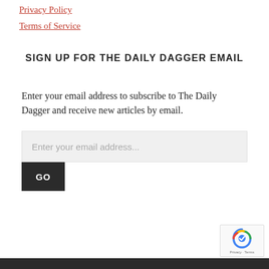Privacy Policy
Terms of Service
SIGN UP FOR THE DAILY DAGGER EMAIL
Enter your email address to subscribe to The Daily Dagger and receive new articles by email.
[Figure (screenshot): Email input field with placeholder text 'Enter your email address...' and a dark GO button below it, plus reCAPTCHA badge in bottom right corner]